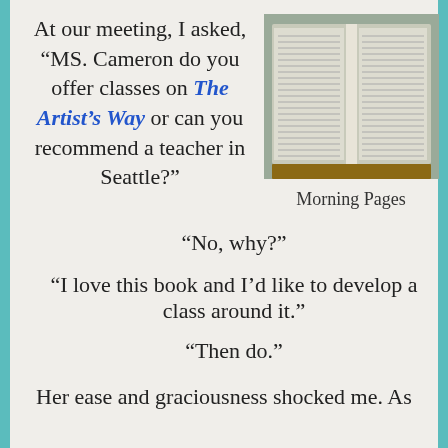At our meeting, I asked, “MS. Cameron do you offer classes on The Artist’s Way or can you recommend a teacher in Seattle?”
[Figure (photo): Open book or journal with handwritten pages, representing Morning Pages]
Morning Pages
“No, why?”
“I love this book and I’d like to develop a class around it.”
“Then do.”
Her ease and graciousness shocked me. As